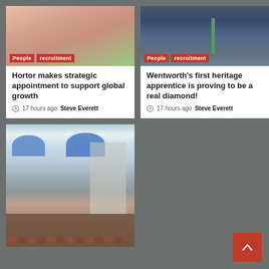[Figure (photo): Close-up photo of a person's face (nose/mouth area) with People and recruitment tags]
People  recruitment
Hortor makes strategic appointment to support global growth
17 hours ago  Steve Everett
[Figure (photo): Photo of people outdoors with People and recruitment tags]
People  recruitment
Wentworth's first heritage apprentice is proving to be a real diamond!
17 hours ago  Steve Everett
[Figure (photo): Two men in hairnets and white coats standing behind trays of chocolates in a bakery]